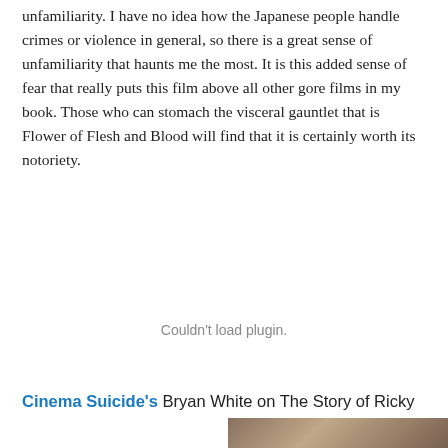unfamiliarity. I have no idea how the Japanese people handle crimes or violence in general, so there is a great sense of unfamiliarity that haunts me the most. It is this added sense of fear that really puts this film above all other gore films in my book. Those who can stomach the visceral gauntlet that is Flower of Flesh and Blood will find that it is certainly worth its notoriety.
[Figure (other): Embedded plugin area showing 'Couldn't load plugin.' message in gray text]
Cinema Suicide's Bryan White on The Story of Ricky
[Figure (photo): Partial photo visible at the bottom right of the page]